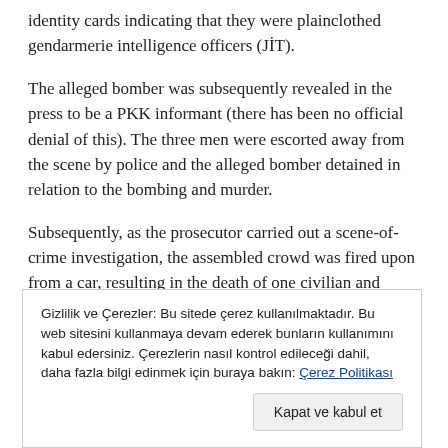identity cards indicating that they were plainclothed gendarmerie intelligence officers (JİT).
The alleged bomber was subsequently revealed in the press to be a PKK informant (there has been no official denial of this). The three men were escorted away from the scene by police and the alleged bomber detained in relation to the bombing and murder.
Subsequently, as the prosecutor carried out a scene-of-crime investigation, the assembled crowd was fired upon from a car, resulting in the death of one civilian and injury of others. The prosecutor's crime-scene investigation was postponed. A
Gizlilik ve Çerezler: Bu sitede çerez kullanılmaktadır. Bu web sitesini kullanmaya devam ederek bunların kullanımını kabul edersiniz. Çerezlerin nasıl kontrol edileceği dahil, daha fazla bilgi edinmek için buraya bakın: Çerez Politikası
Kapat ve kabul et